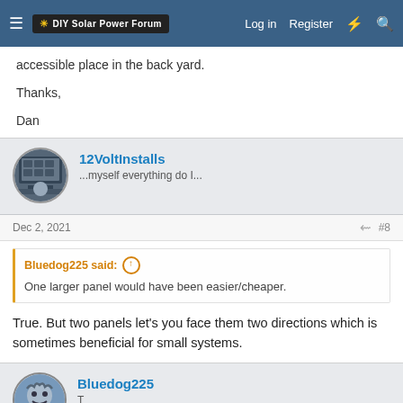DIY Solar Power Forum | Log in | Register
accessible place in the back yard.

Thanks,

Dan
12VoltInstalls
...myself everything do I...
Dec 2, 2021  #8
Bluedog225 said: ↑
One larger panel would have been easier/cheaper.
True. But two panels let's you face them two directions which is sometimes beneficial for small systems.
Bluedog225
T